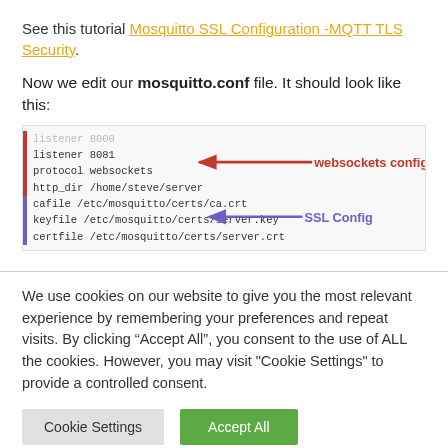See this tutorial Mosquitto SSL Configuration -MQTT TLS Security.
Now we edit our mosquitto.conf file. It should look like this:
[Figure (screenshot): Code block showing mosquitto.conf configuration with two annotated sections: 'websockets config' (listener 8081, protocol websockets, http_dir /home/steve/server) and 'SSL Config' (cafile /etc/mosquitto/certs/ca.crt, keyfile /etc/mosquitto/certs/server.key, certfile /etc/mosquitto/certs/server.crt). Red arrow points to websockets section, purple arrow points to SSL section.]
We use cookies on our website to give you the most relevant experience by remembering your preferences and repeat visits. By clicking “Accept All”, you consent to the use of ALL the cookies. However, you may visit "Cookie Settings" to provide a controlled consent.
Cookie Settings   Accept All